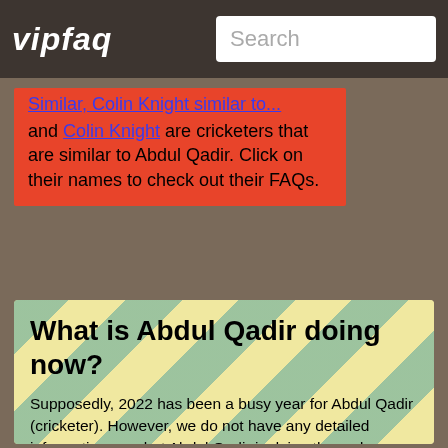vipfaq
...and Colin Knight are cricketers that are similar to Abdul Qadir. Click on their names to check out their FAQs.
What is Abdul Qadir doing now?
Supposedly, 2022 has been a busy year for Abdul Qadir (cricketer). However, we do not have any detailed information on what Abdul Qadir is doing these days. Maybe you know more. Feel free to add the latest news, gossip, official contact information such as mangement phone number, cell phone number or email address, and your questions below.